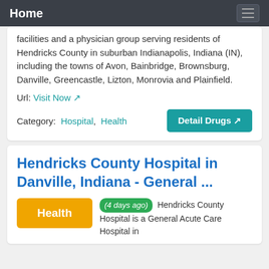Home
facilities and a physician group serving residents of Hendricks County in suburban Indianapolis, Indiana (IN), including the towns of Avon, Bainbridge, Brownsburg, Danville, Greencastle, Lizton, Monrovia and Plainfield.
Url: Visit Now
Category: Hospital, Health
Hendricks County Hospital in Danville, Indiana - General ...
(4 days ago) Hendricks County Hospital is a General Acute Care Hospital in